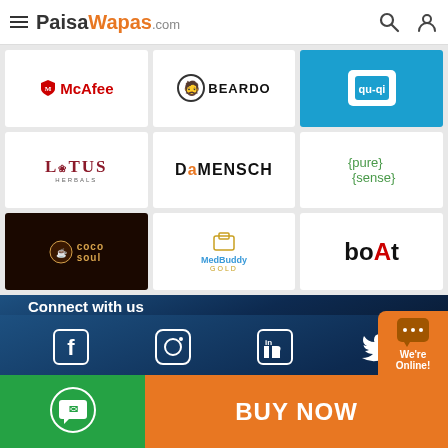[Figure (screenshot): PaisaWapas.com website header with hamburger menu, logo, search and user icons]
[Figure (logo): Grid of brand logos: McAfee, Beardo, Qubo, Lotus Herbals, DaMENSCH, Pure Sense, CocoSoul, MedBuddy Gold, boAt]
Connect with us
[Figure (infographic): Social media icons: Facebook, Instagram, LinkedIn, Twitter]
[Figure (infographic): GET IT ON Playstore button]
[Figure (infographic): WhatsApp icon bar (green), BUY NOW button (orange), We're Online chat bubble]